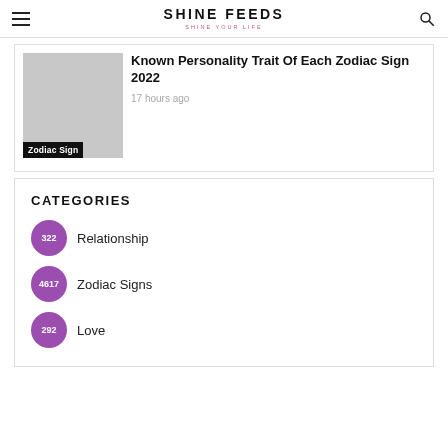SHINE FEEDS — SHINE YOUR LIFE
Zodiac Sign
Known Personality Trait Of Each Zodiac Sign 2022
17 hours ago
CATEGORIES
322 Relationship
4617 Zodiac Signs
292 Love